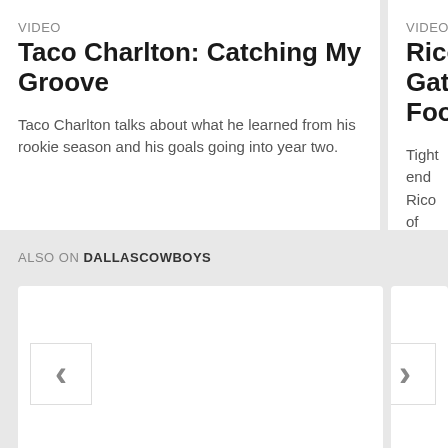VIDEO
Taco Charlton: Catching My Groove
Taco Charlton talks about what he learned from his rookie season and his goals going into year two.
VIDEO
Rico Gath Football
Tight end Rico of getting bac 2017 season
ALSO ON DALLASCOWBOYS